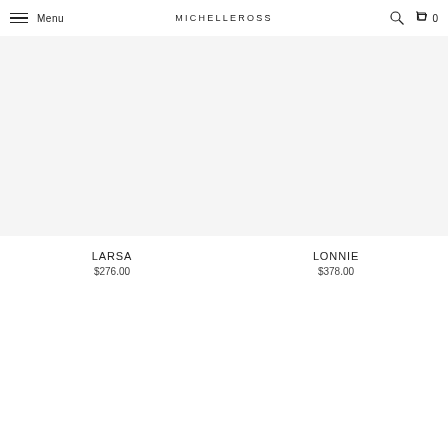Menu  MICHELLEROSS  0
LARSA
$276.00
LONNIE
$378.00